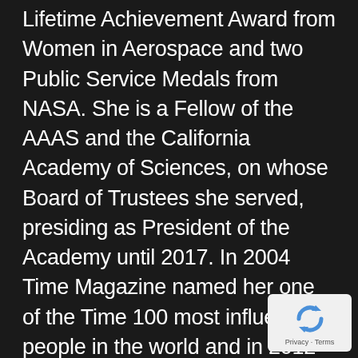Lifetime Achievement Award from Women in Aerospace and two Public Service Medals from NASA. She is a Fellow of the AAAS and the California Academy of Sciences, on whose Board of Trustees she served, presiding as President of the Academy until 2017. In 2004 Time Magazine named her one of the Time 100 most influential people in the world and in 2012 one of the Time 25 most influential people in space. Tarter was a Technology, Education, Design (TED) prize-winner in 2009, and was a recipient of the Silicon Valley Women of Influence 2010 Award. In 2014 she was chosen as the Jansky Lecturer. Asteroid 74824 Tarter (1999 TJ16) has been named in her honor, and a biography Making Contact by Sarah Scol was published in 2017.
[Figure (logo): reCAPTCHA privacy badge with circular arrow logo and 'Privacy - Terms' text]